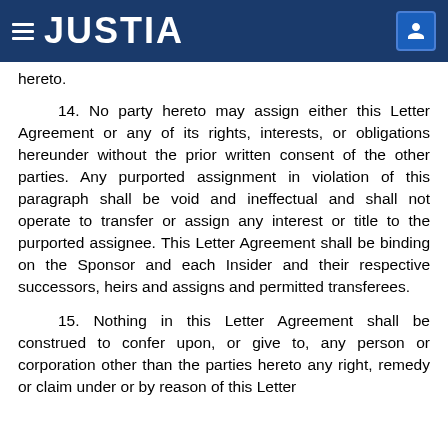JUSTIA
hereto.
14. No party hereto may assign either this Letter Agreement or any of its rights, interests, or obligations hereunder without the prior written consent of the other parties. Any purported assignment in violation of this paragraph shall be void and ineffectual and shall not operate to transfer or assign any interest or title to the purported assignee. This Letter Agreement shall be binding on the Sponsor and each Insider and their respective successors, heirs and assigns and permitted transferees.
15. Nothing in this Letter Agreement shall be construed to confer upon, or give to, any person or corporation other than the parties hereto any right, remedy or claim under or by reason of this Letter